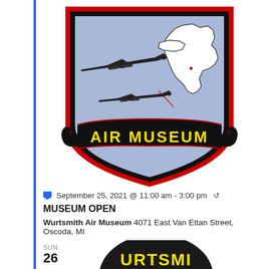[Figure (logo): Wurtsmith Air Museum shield/crest logo featuring a light blue background with outline of Michigan state, two military aircraft in mid-air refueling scene, red and black border, black banner at bottom with yellow text 'AIR MUSEUM']
September 25, 2021 @ 11:00 am - 3:00 pm ↺
MUSEUM OPEN
Wurtsmith Air Museum 4071 East Van Ettan Street, Oscoda, MI
SUN
26
[Figure (logo): Partial view of Wurtsmith Air Museum circular logo at bottom of page, showing dark background with yellow text 'URTSMI' visible]